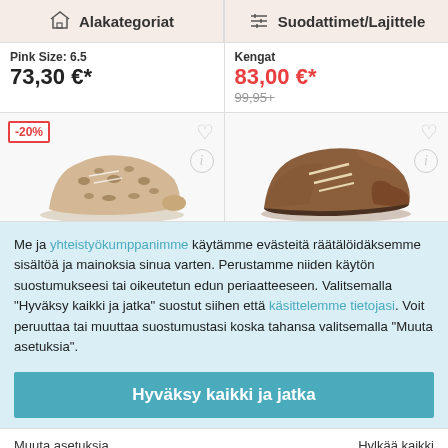Alakategoriat   Suodattimet/Lajittele
Pink Size: 6.5
73,30 €*
Kengat
83,00 €*
99,95+
[Figure (photo): Two product images side by side: left shows leopard print shoe with -20% badge, heart and info icons; right shows brown leather shoe with heart and info icons]
Me ja yhteistyökumppanimme käytämme evästeitä räätälöidäksemme sisältöä ja mainoksia sinua varten. Perustamme niiden käytön suostumukseesi tai oikeutetun edun periaatteeseen. Valitsemalla "Hyväksy kaikki ja jatka" suostut siihen että käsittelemme tietojasi. Voit peruuttaa tai muuttaa suostumustasi koska tahansa valitsemalla "Muuta asetuksia".
Hyväksy kaikki ja jatka
Muuta asetuksia   Hylkää kaikki